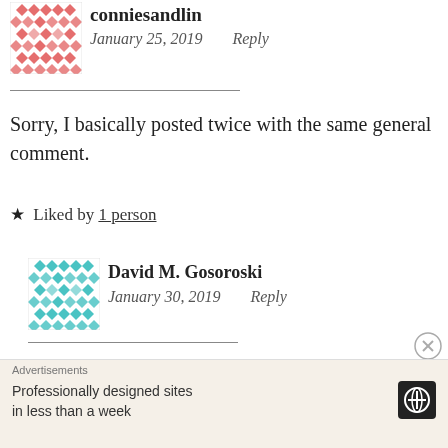[Figure (illustration): Red/pink geometric quilt-pattern avatar for conniesandlin]
conniesandlin
January 25, 2019    Reply
Sorry, I basically posted twice with the same general comment.
★ Liked by 1 person
[Figure (illustration): Teal/cyan geometric quilt-pattern avatar for David M. Gosoroski]
David M. Gosoroski
January 30, 2019    Reply
Advertisements
Professionally designed sites in less than a week